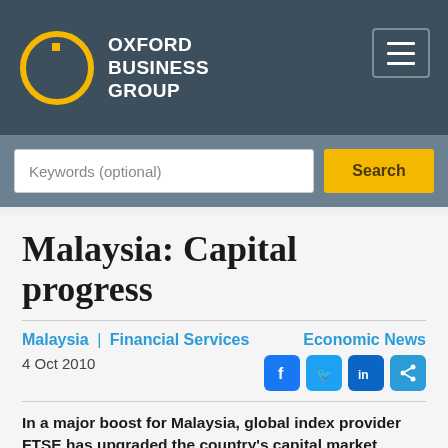OXFORD BUSINESS GROUP
Keywords (optional)
Malaysia: Capital progress
Malaysia | Financial Services
4 Oct 2010
Economic News
In a major boost for Malaysia, global index provider FTSE has upgraded the country's capital market status from secondary to advanced emerging. The vote of confidence fits well with the government's ambitious plans to restructure the economy through major investment